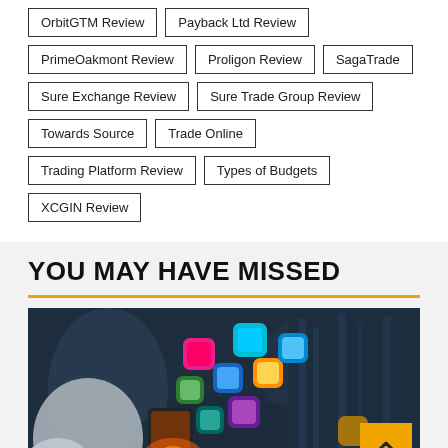OrbitGTM Review
Payback Ltd Review
PrimeOakmont Review
Proligon Review
SagaTrade
Sure Exchange Review
Sure Trade Group Review
Towards Source
Trade Online
Trading Platform Review
Types of Budgets
XCGIN Review
YOU MAY HAVE MISSED
[Figure (photo): Person holding a smartphone with colorful app icons floating out of the screen, set against a dark blue blurred background. An orange back-to-top button with a caret/chevron up arrow is overlaid in the bottom-right corner.]